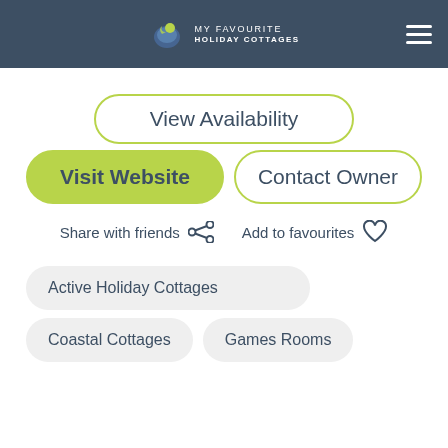MY FAVOURITE HOLIDAY COTTAGES
View Availability
Visit Website
Contact Owner
Share with friends
Add to favourites
Active Holiday Cottages
Coastal Cottages
Games Rooms